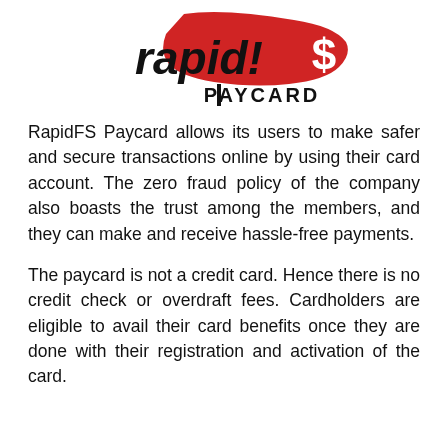[Figure (logo): rapid!$ PAYCARD logo with red brushstroke background and dollar sign]
RapidFS Paycard allows its users to make safer and secure transactions online by using their card account. The zero fraud policy of the company also boasts the trust among the members, and they can make and receive hassle-free payments.
The paycard is not a credit card. Hence there is no credit check or overdraft fees. Cardholders are eligible to avail their card benefits once they are done with their registration and activation of the card.